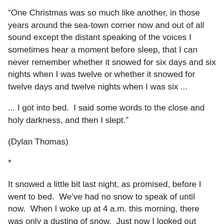"One Christmas was so much like another, in those years around the sea-town corner now and out of all sound except the distant speaking of the voices I sometimes hear a moment before sleep, that I can never remember whether it snowed for six days and six nights when I was twelve or whether it snowed for twelve days and twelve nights when I was six ...
... I got into bed.  I said some words to the close and holy darkness, and then I slept."
(Dylan Thomas)
*
It snowed a little bit last night, as promised, before I went to bed.  We've had no snow to speak of until now.  When I woke up at 4 a.m. this morning, there was only a dusting of snow.  Just now I looked out again in the darkness and see that it is snowing steadily.
December is full of celebrations from numerous traditions